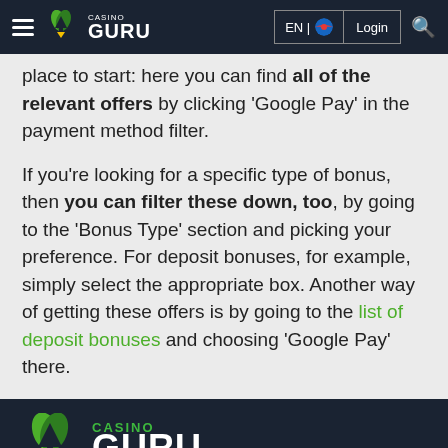Casino Guru — EN | Login
place to start: here you can find all of the relevant offers by clicking 'Google Pay' in the payment method filter.

If you're looking for a specific type of bonus, then you can filter these down, too, by going to the 'Bonus Type' section and picking your preference. For deposit bonuses, for example, simply select the appropriate box. Another way of getting these offers is by going to the list of deposit bonuses and choosing 'Google Pay' there.
Casino Guru — FOLLOW US